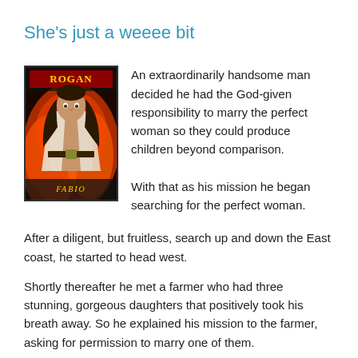She's just a weeee bit
[Figure (photo): Book cover of a romance novel titled 'Rogan' featuring Fabio — a long-haired man with an open white shirt against a fiery red background]
An extraordinarily handsome man decided he had the God-given responsibility to marry the perfect woman so they could produce children beyond comparison.

With that as his mission he began searching for the perfect woman.
After a diligent, but fruitless, search up and down the East coast, he started to head west.
Shortly thereafter he met a farmer who had three stunning, gorgeous daughters that positively took his breath away. So he explained his mission to the farmer, asking for permission to marry one of them.